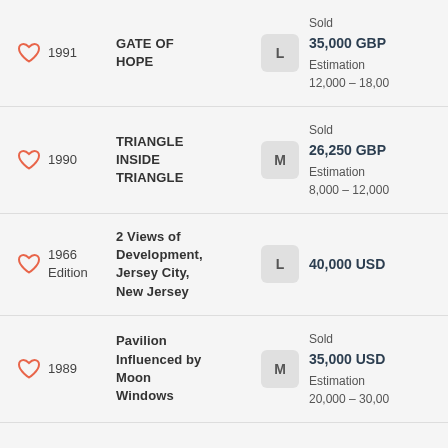1991 | GATE OF HOPE | L | Sold 35,000 GBP | Estimation 12,000–18,000
1990 | TRIANGLE INSIDE TRIANGLE | M | Sold 26,250 GBP | Estimation 8,000–12,000
1966 Edition | 2 Views of Development, Jersey City, New Jersey | L | 40,000 USD
1989 | Pavilion Influenced by Moon Windows | M | Sold 35,000 USD | Estimation 20,000–30,000